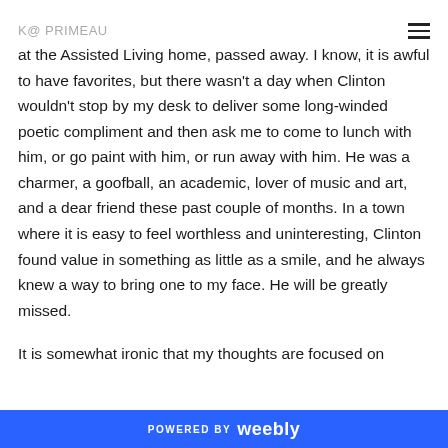K@ PRIMEAU
at the Assisted Living home, passed away. I know, it is awful to have favorites, but there wasn't a day when Clinton wouldn't stop by my desk to deliver some long-winded poetic compliment and then ask me to come to lunch with him, or go paint with him, or run away with him. He was a charmer, a goofball, an academic, lover of music and art, and a dear friend these past couple of months. In a town where it is easy to feel worthless and uninteresting, Clinton found value in something as little as a smile, and he always knew a way to bring one to my face. He will be greatly missed.
It is somewhat ironic that my thoughts are focused on
POWERED BY weebly